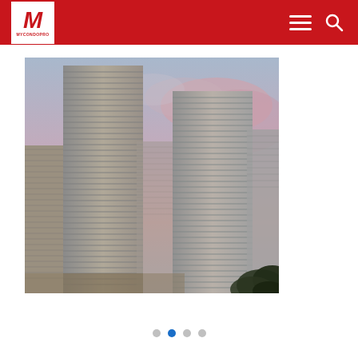MYCONDOPRO
[Figure (photo): Architectural rendering of two tall modern condominium towers with horizontal striped facades against a dusk sky with pink and purple clouds. Trees visible in the lower right corner.]
Slideshow navigation dots: four dots, second dot active (blue)